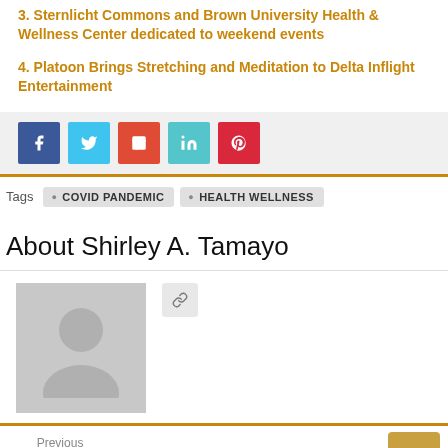3. Sternlicht Commons and Brown University Health & Wellness Center dedicated to weekend events
4. Platoon Brings Stretching and Meditation to Delta Inflight Entertainment
[Figure (other): Social sharing buttons: Facebook (blue), Twitter (light blue), Google+ (red), LinkedIn (teal), Pinterest (red)]
Tags   COVID PANDEMIC   HEALTH WELLNESS
About Shirley A. Tamayo
[Figure (photo): Generic avatar/profile placeholder image (gray silhouette of a person on gray background)]
Previous
Music critic: RSNO & Patricia Kopatchinskaja, Glasgow Royal